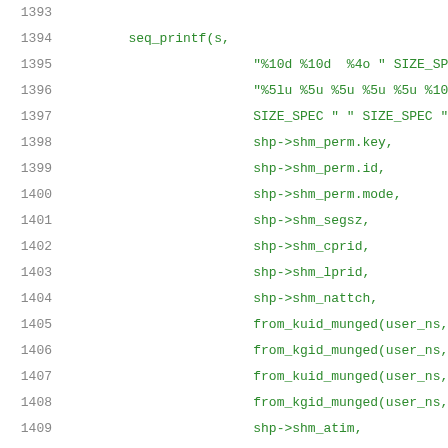1393
1394    seq_printf(s,
1395            "%10d %10d  %4o " SIZE_SPEC
1396            "%5lu %5u %5u %5u %5u %10lu
1397            SIZE_SPEC " " SIZE_SPEC "\n"
1398            shp->shm_perm.key,
1399            shp->shm_perm.id,
1400            shp->shm_perm.mode,
1401            shp->shm_segsz,
1402            shp->shm_cprid,
1403            shp->shm_lprid,
1404            shp->shm_nattch,
1405            from_kuid_munged(user_ns, sh
1406            from_kgid_munged(user_ns, sh
1407            from_kuid_munged(user_ns, sh
1408            from_kgid_munged(user_ns, sh
1409            shp->shm_atim,
1410            shp->shm_dtim,
1411            shp->shm_ctim,
1412            rss * PAGE_SIZE,
1413            swp * PAGE_SIZE);